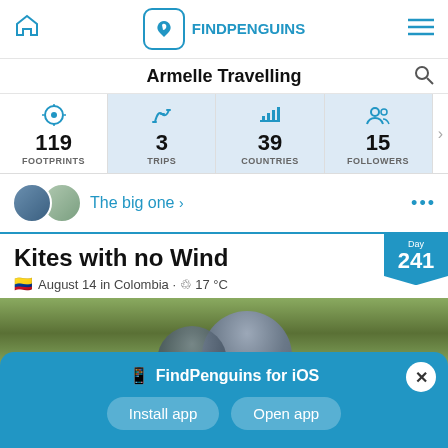FindPenguins - Armelle Travelling
Armelle Travelling
| FOOTPRINTS | TRIPS | COUNTRIES | FOLLOWERS |
| --- | --- | --- | --- |
| 119 | 3 | 39 | 15 |
The big one >
Kites with no Wind
August 14 in Colombia · 17 °C · Day 241
[Figure (screenshot): Partial photo of a person outdoors with green field background]
FindPenguins for iOS · Install app · Open app